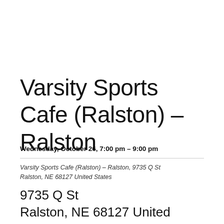Varsity Sports Cafe (Ralston) – Ralston
Wednesday, October 26, 7:00 pm – 9:00 pm
Varsity Sports Cafe (Ralston) – Ralston, 9735 Q St Ralston, NE 68127 United States
9735 Q St
Ralston, NE 68127 United States
Learn more »